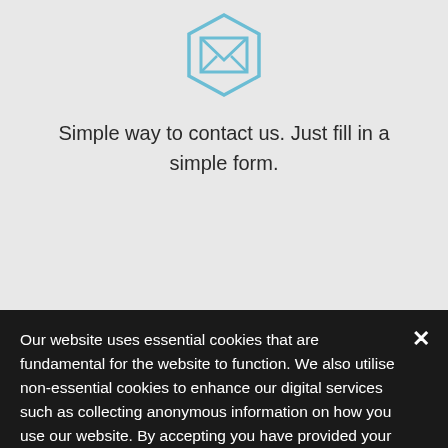[Figure (illustration): Light blue hexagon icon with envelope/letter symbol inside, centered at top of page]
Simple way to contact us. Just fill in a simple form.
Our services
Our website uses essential cookies that are fundamental for the website to function. We also utilise non-essential cookies to enhance our digital services such as collecting anonymous information on how you use our website. By accepting you have provided your consent to the use of non-essential cookies. If you would like to change this, please click on 'Change cookie settings'.
Accept & Close
Change cookie settings